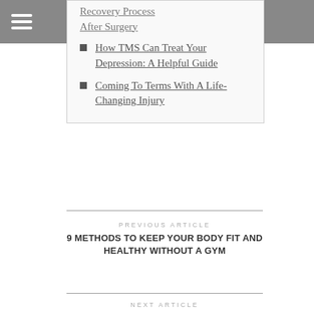The Art of Healthy Living
Recovery Process After Surgery
How TMS Can Treat Your Depression: A Helpful Guide
Coming To Terms With A Life-Changing Injury
PREVIOUS ARTICLE
9 METHODS TO KEEP YOUR BODY FIT AND HEALTHY WITHOUT A GYM
NEXT ARTICLE